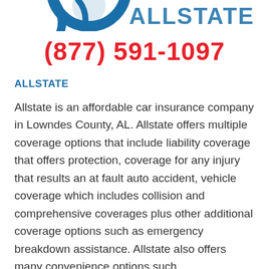[Figure (logo): Partial Allstate insurance logo visible at top of page, blue circular design with text]
(877) 591-1097
ALLSTATE
Allstate is an affordable car insurance company in Lowndes County, AL. Allstate offers multiple coverage options that include liability coverage that offers protection, coverage for any injury that results an at fault auto accident, vehicle coverage which includes collision and comprehensive coverages plus other additional coverage options such as emergency breakdown assistance. Allstate also offers many convenience options such